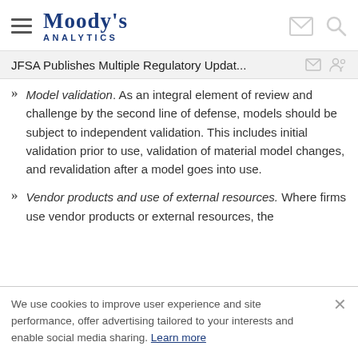Moody's Analytics
JFSA Publishes Multiple Regulatory Updat...
Model validation. As an integral element of review and challenge by the second line of defense, models should be subject to independent validation. This includes initial validation prior to use, validation of material model changes, and revalidation after a model goes into use.
Vendor products and use of external resources. Where firms use vendor products or external resources, the firms should...
We use cookies to improve user experience and site performance, offer advertising tailored to your interests and enable social media sharing. Learn more